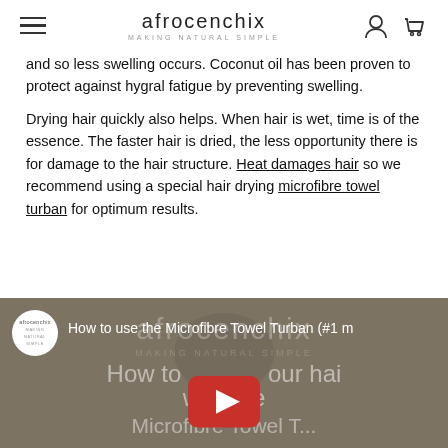afrocenchix MAKING NATURAL SIMPLE
and so less swelling occurs. Coconut oil has been proven to protect against hygral fatigue by preventing swelling.
Drying hair quickly also helps. When hair is wet, time is of the essence. The faster hair is dried, the less opportunity there is for damage to the hair structure. Heat damages hair so we recommend using a special hair drying microfibre towel turban for optimum results.
[Figure (screenshot): YouTube video embed showing 'How to use the Microfibre Towel Turban (#1 m...' with afrocenchix branding, a play button, and partial text 'How to ...our hai with the Microfibre Towel T...']